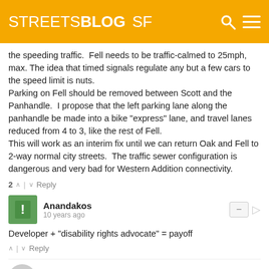STREETSBLOG SF
the speeding traffic.  Fell needs to be traffic-calmed to 25mph, max. The idea that timed signals regulate any but a few cars to the speed limit is nuts.
Parking on Fell should be removed between Scott and the Panhandle.  I propose that the left parking lane along the panhandle be made into a bike "express" lane, and travel lanes reduced from 4 to 3, like the rest of Fell.
This will work as an interim fix until we can return Oak and Fell to 2-way normal city streets.  The traffic sewer configuration is dangerous and very bad for Western Addition connectivity.
2  ∧  |  ∨  Reply
Anandakos
10 years ago
Developer + "disability rights advocate" = payoff
∧  |  ∨  Reply
Rob Anderson